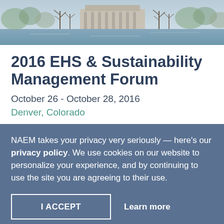[Figure (photo): Aerial or wide-angle photo of a building near water, trees visible, winter scene]
2016 EHS & Sustainability Management Forum
October 26  -  October 28, 2016
Denver, Colorado
NAEM takes your privacy very seriously — here's our privacy policy. We use cookies on our website to personalize your experience, and by continuing to use the site you are agreeing to their use.
I ACCEPT
Learn more